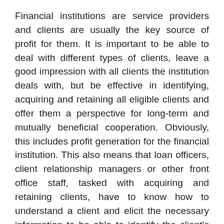Financial institutions are service providers and clients are usually the key source of profit for them. It is important to be able to deal with different types of clients, leave a good impression with all clients the institution deals with, but be effective in identifying, acquiring and retaining all eligible clients and offer them a perspective for long-term and mutually beneficial cooperation. Obviously, this includes profit generation for the financial institution. This also means that loan officers, client relationship managers or other front office staff, tasked with acquiring and retaining clients, have to know how to understand a client and elicit the necessary information to be able to identify the client's needs and potential in an effective and efficient way.
So, in this course, you will learn how to communicate with clients effectively, and practice communication